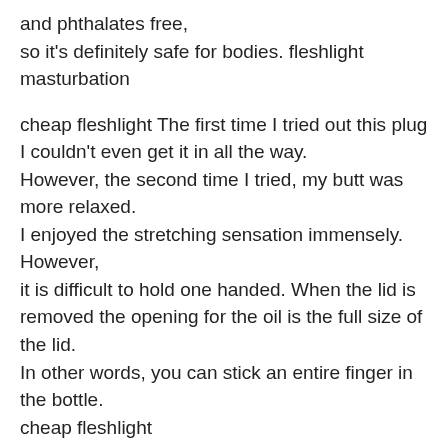and phthalates free,
so it's definitely safe for bodies. fleshlight masturbation
cheap fleshlight The first time I tried out this plug I couldn't even get it in all the way.
However, the second time I tried, my butt was more relaxed.
I enjoyed the stretching sensation immensely. However,
it is difficult to hold one handed. When the lid is removed the opening for the oil is the full size of the lid.
In other words, you can stick an entire finger in the bottle.
cheap fleshlight
best fleshlight I am a shy person. I used to get VERY shy about things like
this and shy about anything in front of a male partner.